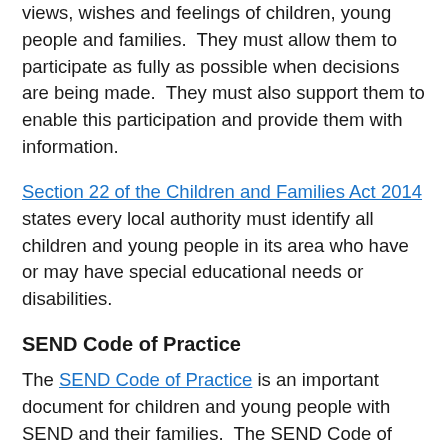views, wishes and feelings of children, young people and families. They must allow them to participate as fully as possible when decisions are being made. They must also support them to enable this participation and provide them with information.
Section 22 of the Children and Families Act 2014 states every local authority must identify all children and young people in its area who have or may have special educational needs or disabilities.
SEND Code of Practice
The SEND Code of Practice is an important document for children and young people with SEND and their families. The SEND Code of Practice is the document that professionals must refer to.
It explains what support you can expect your child to